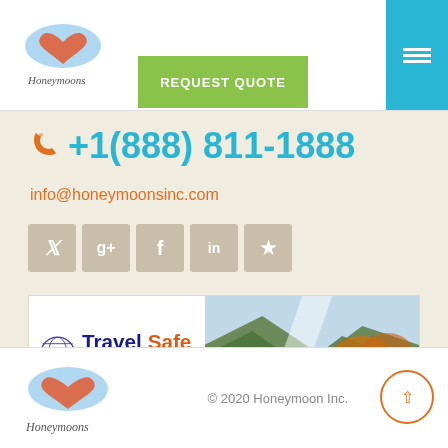[Figure (logo): Honeymoons Inc cursive logo with heart cloud]
REQUEST QUOTE
+1(888) 811-1888
info@honeymoonsinc.com
[Figure (other): Social media icons: Twitter, Google+, Facebook, LinkedIn, Pinterest]
[Figure (other): TravelSafe Insurance Classic banner ad]
[Figure (logo): Honeymoons Inc cursive logo footer]
© 2020 Honeymoon Inc.